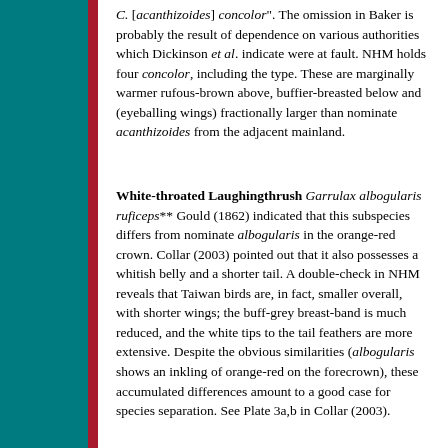C. [acanthizoides] concolor". The omission in Baker is probably the result of dependence on various authorities which Dickinson et al. indicate were at fault. NHM holds four concolor, including the type. These are marginally warmer rufous-brown above, buffier-breasted below and (eyeballing wings) fractionally larger than nominate acanthizoides from the adjacent mainland.
White-throated Laughingthrush Garrulax albogularis ruficeps** Gould (1862) indicated that this subspecies differs from nominate albogularis in the orange-red crown. Collar (2003) pointed out that it also possesses a whitish belly and a shorter tail. A double-check in NHM reveals that Taiwan birds are, in fact, smaller overall, with shorter wings; the buff-grey breast-band is much reduced, and the white tips to the tail feathers are more extensive. Despite the obvious similarities (albogularis shows an inkling of orange-red on the forecrown), these accumulated differences amount to a good case for species separation. See Plate 3a,b in Collar (2003).
Rusty Laughingthrush Garrulax poecilorhynchus